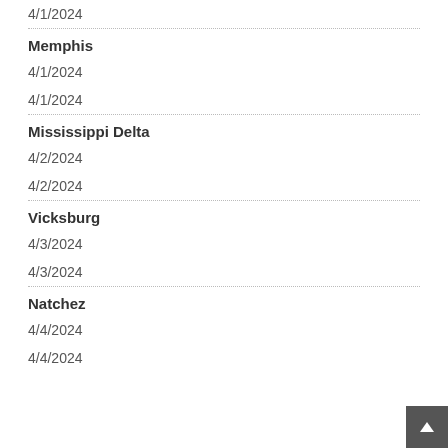4/1/2024
Memphis
4/1/2024
4/1/2024
Mississippi Delta
4/2/2024
4/2/2024
Vicksburg
4/3/2024
4/3/2024
Natchez
4/4/2024
4/4/2024